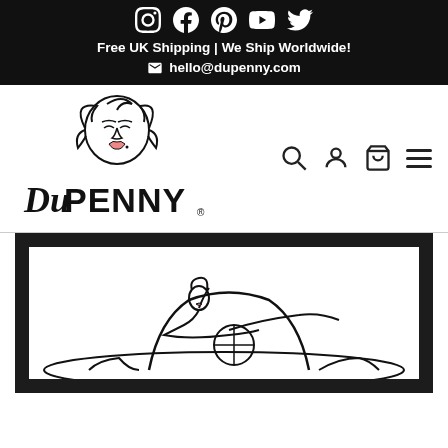Free UK Shipping | We Ship Worldwide! hello@dupenny.com
[Figure (logo): DuPenny brand logo with illustrated woman face and stylized text]
[Figure (illustration): Framed pin-up style illustration of a woman reclining on a vintage convertible car, black and white line art]